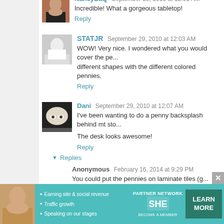NancyBaQ September 29, 2010 at 12:01 AM
Incredible! What a gorgeous tabletop!
Reply
STATJR September 29, 2010 at 12:03 AM
WOW! Very nice. I wondered what you would cover the pennies with. I like how you made different shapes with the different colored pennies.
Reply
Dani September 29, 2010 at 12:07 AM
I've been wanting to do a penny backsplash behind mt sto...
The desk looks awesome!
Reply
▾ Replies
Anonymous February 16, 2014 at 9:29 PM
You could put the pennies on laminate tiles (g... can be removed if the landlord wants. I woul...
[Figure (infographic): SHE Partner Network ad banner with woman photo, bullet points: Earning site & social revenue, Traffic growth, Speaking on our stages; SHE PARTNER NETWORK BECOME A MEMBER logo; LEARN MORE button; X close button]